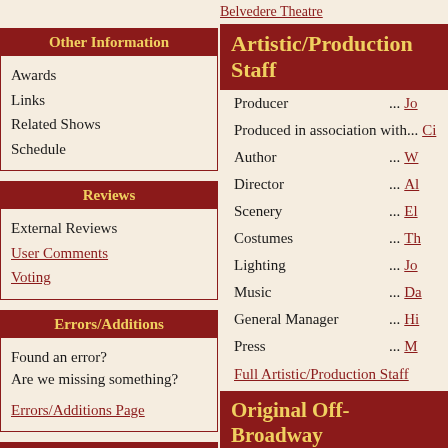Belvedere Theatre
Other Information
Awards
Links
Related Shows
Schedule
Artistic/Production Staff
Producer ... Jo
Produced in association with ... Ci
Author ... W
Director ... Al
Scenery ... El
Costumes ... Th
Lighting ... Jo
Music ... Da
General Manager ... Hi
Press ... M
Full Artistic/Production Staff
Reviews
External Reviews
User Comments
Voting
Original Off-Broadway
Errors/Additions
Found an error?
Are we missing something?
Errors/Additions Page
The Duke of Vienna ... M
Escalus ... A
About ITDb
ITDb About/FAQ
Advertising info
Copyright info
Submission info